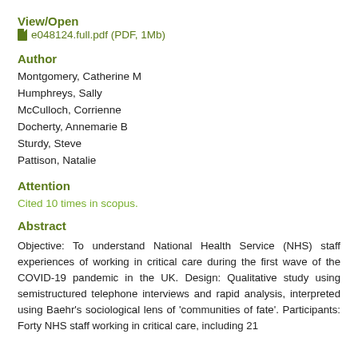View/Open
e048124.full.pdf (PDF, 1Mb)
Author
Montgomery, Catherine M
Humphreys, Sally
McCulloch, Corrienne
Docherty, Annemarie B
Sturdy, Steve
Pattison, Natalie
Attention
Cited 10 times in scopus.
Abstract
Objective: To understand National Health Service (NHS) staff experiences of working in critical care during the first wave of the COVID-19 pandemic in the UK. Design: Qualitative study using semistructured telephone interviews and rapid analysis, interpreted using Baehr's sociological lens of 'communities of fate'. Participants: Forty NHS staff working in critical care, including 21